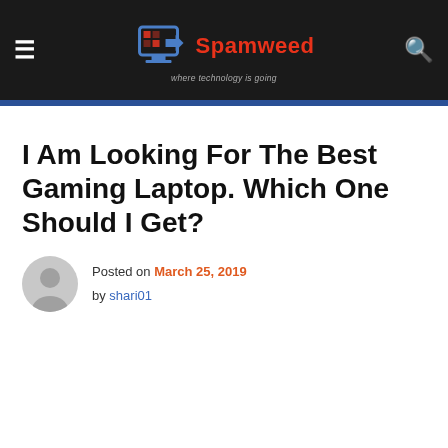Spamweed — where technology is going
I Am Looking For The Best Gaming Laptop. Which One Should I Get?
Posted on March 25, 2019 by shari01